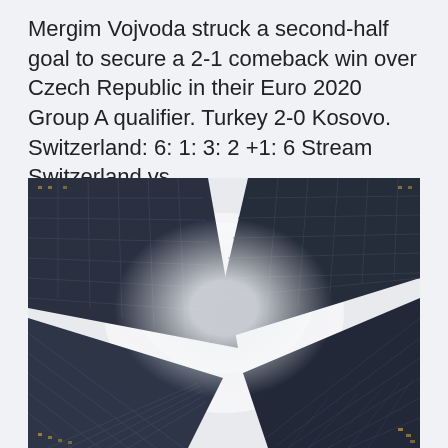Mergim Vojvoda struck a second-half goal to secure a 2-1 comeback win over Czech Republic in their Euro 2020 Group A qualifier. Turkey 2-0 Kosovo. Switzerland: 6: 1: 3: 2 +1: 6 Stream Switzerland vs.
[Figure (photo): Low-angle view looking up at several tall dark glass skyscrapers converging toward a pale white misty sky in the center. The buildings have grid-patterned glass facades and appear to recede into fog.]